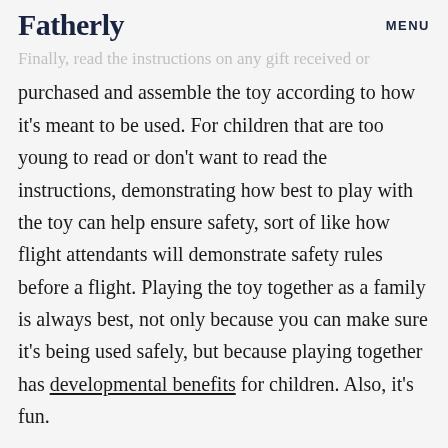Fatherly   MENU
Finally, read the instructions on any gift received or purchased and assemble the toy according to how it's meant to be used. For children that are too young to read or don't want to read the instructions, demonstrating how best to play with the toy can help ensure safety, sort of like how flight attendants will demonstrate safety rules before a flight. Playing the toy together as a family is always best, not only because you can make sure it's being used safely, but because playing together has developmental benefits for children. Also, it's fun.
“Toys sold in the U.S., no matter where they’re made, have to comply with over 100 different safety